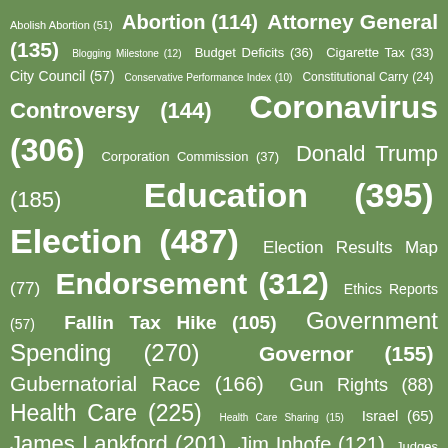[Figure (infographic): Tag cloud on green background showing political topics with counts in parentheses. Topics include Abolish Abortion (51), Abortion (114), Attorney General (135), Blogging Milestone (12), Budget Deficits (36), Cigarette Tax (33), City Council (57), Conservative Performance Index (10), Constitutional Carry (24), Controversy (144), Coronavirus (306), Corporation Commission (37), Donald Trump (185), Education (395), Election (487), Election Results Map (77), Endorsement (312), Ethics Reports (57), Fallin Tax Hike (105), Government Spending (270), Governor (155), Gubernatorial Race (166), Gun Rights (88), Health Care (225), Health Care Sharing (15), Israel (65), James Lankford (201), Jim Inhofe (121), Judges (47), Kendra Horn (66), Kevin Hern (101), Legislative Session (350), Lieutenant Governor (70), Map (108), Markwayne Mullin (115), Matt Pinnell (94), Mayor (52), Music Monday (223), Muskogee (231), My Endorsements (45), National Debt (42), OKGOP (230), Oklahoma Democratic Party (63), Oklahoma Legislature (195), Oklahoma Supreme Court (61), OKLP (28), Poll (83), Presidential Primary (162), Republican District Rating (7), Runoff Election (124), Samaritan Ministries (16), Special Election (111+)]